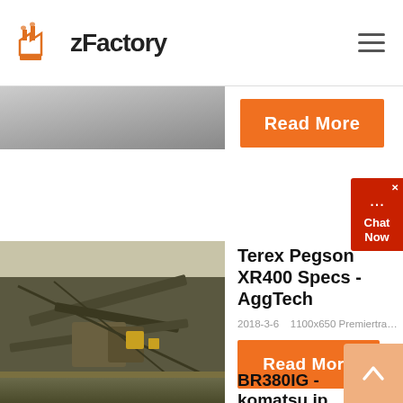zFactory
[Figure (photo): Partial photo of industrial machinery or ground surface (cropped top)]
Read More
[Figure (screenshot): Chat Now widget with red background]
[Figure (photo): Aerial view of industrial quarry/aggregate processing equipment with conveyors and crushers]
Terex Pegson XR400 Specs - AggTech
2018-3-6    1100x650 Premiertrak...
Read More
[Figure (other): Scroll to top button (orange/peach chevron up)]
BR380IG - komatsu.jp